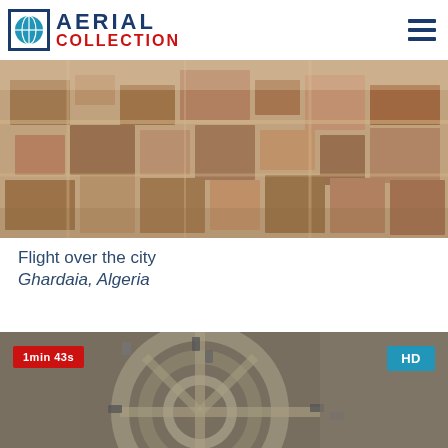AERIAL COLLECTION
[Figure (photo): Aerial view of the dense urban city of Ghardaia, Algeria, showing rooftops and streets from above in sandy/brown tones.]
Flight over the city
Ghardaia, Algeria
[Figure (photo): Aerial view of a circular road interchange or roundabout in an urban area, with cars visible, overlaid with a red badge '1min 43s' and blue badge 'HD'.]